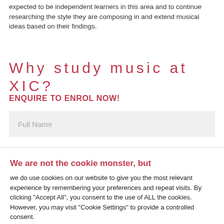expected to be independent learners in this area and to continue researching the style they are composing in and extend musical ideas based on their findings.
Why study music at XIC?
ENQUIRE TO ENROL NOW!
Full Name
We are not the cookie monster, but
we do use cookies on our website to give you the most relevant experience by remembering your preferences and repeat visits. By clicking "Accept All", you consent to the use of ALL the cookies. However, you may visit "Cookie Settings" to provide a controlled consent.
Cookie Settings | Accept All